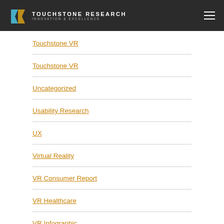TOUCHSTONE RESEARCH INNOVATION & EXCELLENCE
Touchstone VR
Touchstone VR
Uncategorized
Usability Research
UX
Virtual Reality
VR Consumer Report
VR Healthcare
VR Infographic